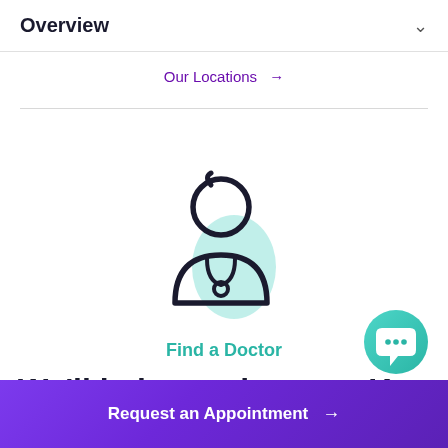Overview
Our Locations →
[Figure (illustration): Line-art icon of a doctor/medical professional with stethoscope, teal shadow overlay behind figure, on white background]
Find a Doctor
We'll help you locate a Kettering
Request an Appointment →